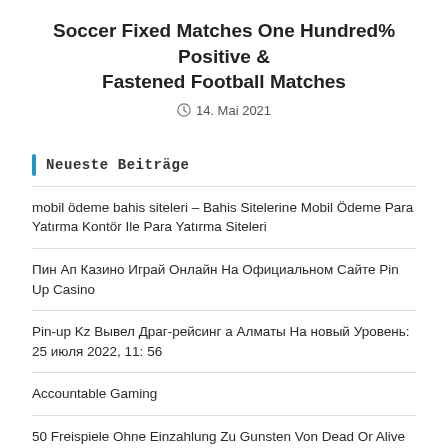Soccer Fixed Matches One Hundred% Positive & Fastened Football Matches
14. Mai 2021
Neueste Beiträge
mobil ödeme bahis siteleri – Bahis Sitelerine Mobil Ödeme Para Yatırma Kontör Ile Para Yatırma Siteleri
Пин Ап Казино Играй Онлайн На Официальном Сайте Pin Up Casino
Pin-up Kz Вывел Драг-рейсинг а Алматы На новый Уровень: 25 июля 2022, 11: 56
Accountable Gaming
50 Freispiele Ohne Einzahlung Zu Gunsten Von Dead Or Alive 2 Von Nolimit...